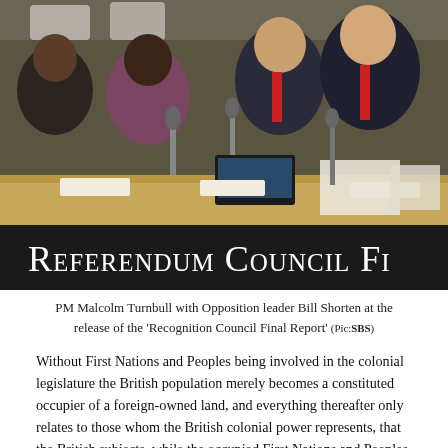[Figure (photo): PM Malcolm Turnbull with Opposition leader Bill Shorten and others seated at a conference table with microphones, at the release of the Referendum Council Final Report.]
Referendum Council Fi
PM Malcolm Turnbull with Opposition leader Bill Shorten at the release of the 'Recognition Council Final Report' (Pic:SBS)
Without First Nations and Peoples being involved in the colonial legislature the British population merely becomes a constituted occupier of a foreign-owned land, and everything thereafter only relates to those whom the British colonial power represents, that the British subjects, while the occupied First Nations and Peoples remain a threat because they have their own